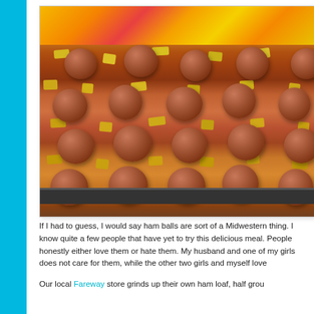[Figure (photo): A baking dish filled with ham balls (meatballs) and pineapple chunks, placed on a colorful orange and yellow patterned tablecloth.]
If I had to guess, I would say ham balls are sort of a Midwestern thing. I know quite a few people that have yet to try this delicious meal. People honestly either love them or hate them. My husband and one of my girls does not care for them, while the other two girls and myself love
Our local Fareway store grinds up their own ham loaf, half grou